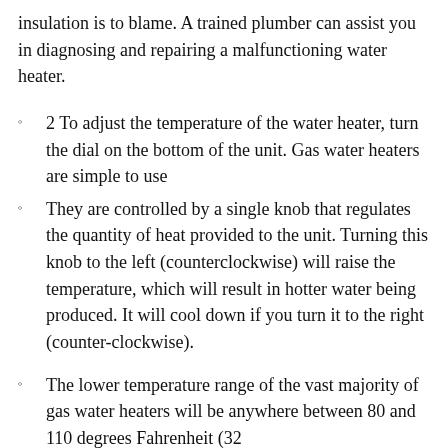insulation is to blame. A trained plumber can assist you in diagnosing and repairing a malfunctioning water heater.
2 To adjust the temperature of the water heater, turn the dial on the bottom of the unit. Gas water heaters are simple to use
They are controlled by a single knob that regulates the quantity of heat provided to the unit. Turning this knob to the left (counterclockwise) will raise the temperature, which will result in hotter water being produced. It will cool down if you turn it to the right (counter-clockwise).
The lower temperature range of the vast majority of gas water heaters will be anywhere between 80 and 110 degrees Fahrenheit (32...